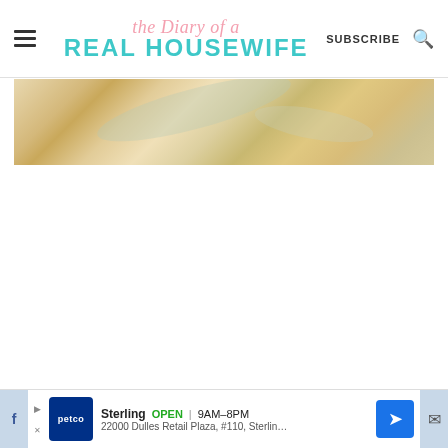The Diary of a Real Housewife — SUBSCRIBE
[Figure (photo): Marble or stone surface texture — beige, tan, and cream tones with veining]
[Figure (infographic): Advertisement banner: Petco — Sterling OPEN 9AM-8PM, 22000 Dulles Retail Plaza, #110, Sterling]